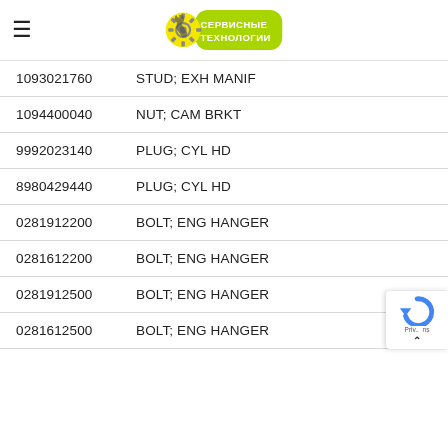СЕРВИСНЫЕ ТЕХНОЛОГИИ
| Part Number | Description |
| --- | --- |
| 1093021760 | STUD; EXH MANIF |
| 1094400040 | NUT; CAM BRKT |
| 9992023140 | PLUG; CYL HD |
| 8980429440 | PLUG; CYL HD |
| 0281912200 | BOLT; ENG HANGER |
| 0281612200 | BOLT; ENG HANGER |
| 0281912500 | BOLT; ENG HANGER |
| 0281612500 | BOLT; ENG HANGER |